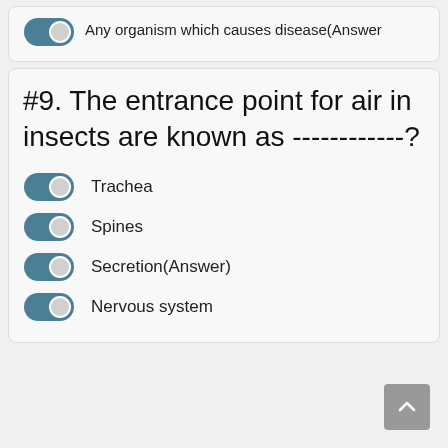Any organism which causes disease(Answer
#9. The entrance point for air in insects are known as ------------?
Trachea
Spines
Secretion(Answer)
Nervous system